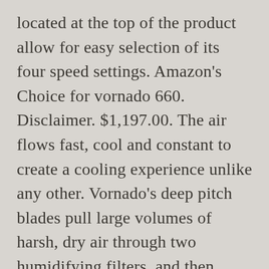located at the top of the product allow for easy selection of its four speed settings. Amazon's Choice for vornado 660. Disclaimer. $1,197.00. The air flows fast, cool and constant to create a cooling experience unlike any other. Vornado's deep pitch blades pull large volumes of harsh, dry air through two humidifying filters, and then, using Vornado's signature Vortex Action, circulates the humidified air throughout the room, providing complete and uniform humidification in spaces up to 1,000 sq. Vornado 660 Trusted worldwide reviews of this little gem and took the first plunge in buying Vornado 533 about 6years ago. Shop for more from Bed Bath and Beyond.